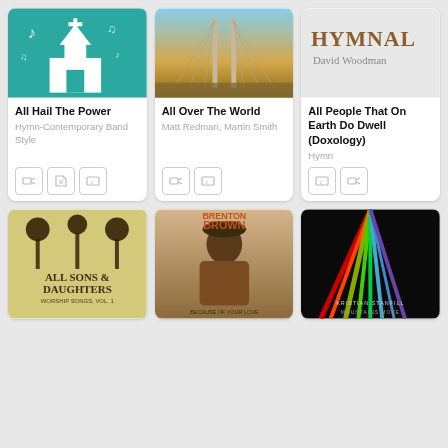[Figure (illustration): Album art: church icon with musical notes on teal background for 'All Hail The Power']
All Hail The Power
Hymn-Contemporary Band Style
[Figure (photo): Album art: bridge cable-stay photo for 'All Over The World']
All Over The World
Matt Redman, Martin Smith
[Figure (illustration): Album art: gray background with text HYMNAL David Woodman]
All People That On Earth Do Dwell (Doxology)
Hymn
[Figure (photo): Album art: All Sons & Daughters decorative folk art]
[Figure (photo): Album art: Brenton Brown - Because of Your Love, man in flannel shirt]
[Figure (photo): Album art: Kristian Stanfill Mountains Move, black with colored lines]